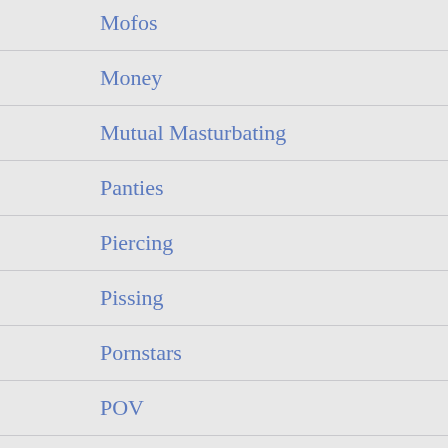Mofos
Money
Mutual Masturbating
Panties
Piercing
Pissing
Pornstars
POV
Role-Play
Rubber